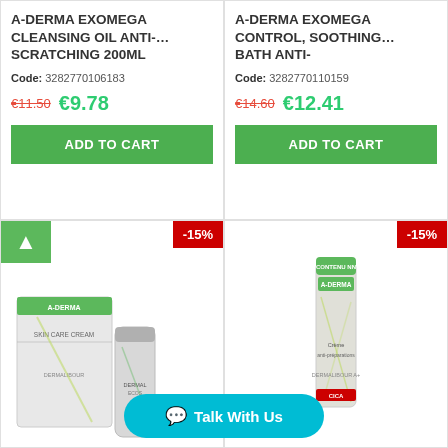A-DERMA EXOMEGA CLEANSING OIL ANTI-... SCRATCHING 200ML
Code: 3282770106183
€11.50  €9.78
ADD TO CART
A-DERMA EXOMEGA CONTROL, SOOTHING... BATH ANTI-
Code: 3282770110159
€14.60  €12.41
ADD TO CART
[Figure (photo): A-Derma skincare product box and tube (Skin Care Cream and Dermalibour)]
[Figure (photo): A-Derma dermatology product tube/cream in white and green packaging]
-15%
-15%
Talk With Us